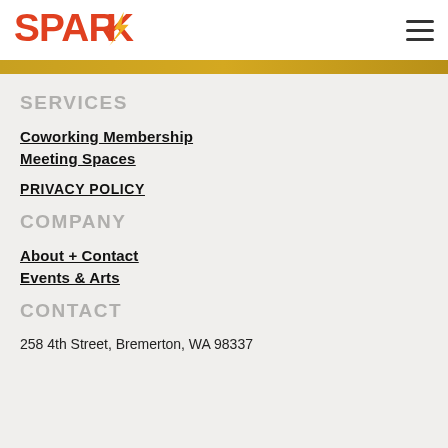[Figure (logo): SPARK logo with orange/red text and yellow lightning bolt K]
SERVICES
Coworking Membership
Meeting Spaces
PRIVACY POLICY
COMPANY
About + Contact
Events & Arts
CONTACT
258 4th Street, Bremerton, WA 98337